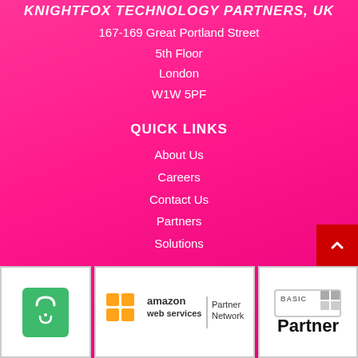KNIGHTFOX TECHNOLOGY PARTNERS, UK
167-169 Great Portland Street
5th Floor
London
W1W 5PF
QUICK LINKS
About Us
Careers
Contact Us
Partners
Solutions
[Figure (logo): Green shopping bag icon logo]
[Figure (logo): Amazon Web Services Partner Network logo]
[Figure (logo): BASIC Partner badge with grey squares icon]